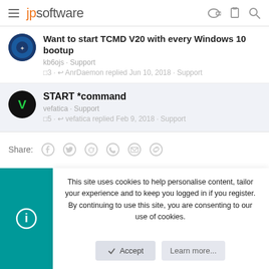jpsoftware
Want to start TCMD V20 with every Windows 10 bootup
kb6ojs · Support
3 · AnrDaemon replied Jun 10, 2018 · Support
START *command
vefatica · Support
5 · vefatica replied Feb 9, 2018 · Support
Share:
This site uses cookies to help personalise content, tailor your experience and to keep you logged in if you register. By continuing to use this site, you are consenting to our use of cookies.